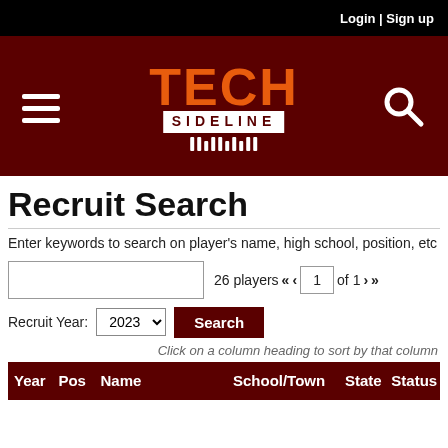Login | Sign up
[Figure (logo): Tech Sideline logo with orange TECH text and white SIDELINE text on dark red background, with hamburger menu and search icon]
Recruit Search
Enter keywords to search on player's name, high school, position, etc
26 players « ‹ 1 of 1 › »
Recruit Year: 2023  Search
Click on a column heading to sort by that column
| Year | Pos | Name | School/Town | State | Status |
| --- | --- | --- | --- | --- | --- |